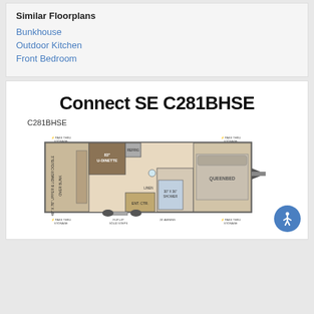Similar Floorplans
Bunkhouse
Outdoor Kitchen
Front Bedroom
Connect SE C281BHSE
C281BHSE
[Figure (engineering-diagram): RV floorplan diagram for Connect SE C281BHSE showing interior layout with bunkhouse, U-dinette, sofa, queen bed, bathroom with 30x36 shower, outdoor kitchen/ENT CTR, pass-thru storage on both sides, flip-up solid steps, 20ft awning, and refrigerator.]